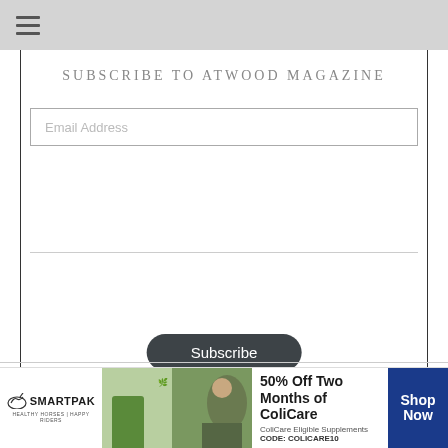≡ (hamburger menu)
SUBSCRIBE TO ATWOOD MAGAZINE
Email Address (input field placeholder)
Subscribe (button)
[Figure (screenshot): SmartPak advertisement banner showing 50% Off Two Months of ColiCare, ColiCare Eligible Supplements, CODE: COLICARE10, with Shop Now button]